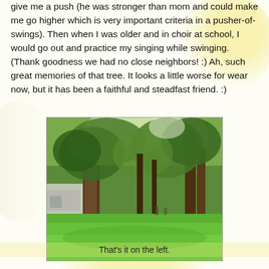give me a push (he was stronger than mom and could make me go higher which is very important criteria in a pusher-of-swings). Then when I was older and in choir at school, I would go out and practice my singing while swinging. (Thank goodness we had no close neighbors! :) Ah, such great memories of that tree. It looks a little worse for wear now, but it has been a faithful and steadfast friend. :)
[Figure (photo): Outdoor photo showing a grassy yard with large trees. A building or vehicle is visible on the left side. The trees have full green foliage and the lawn is bright green.]
That's it on the left.